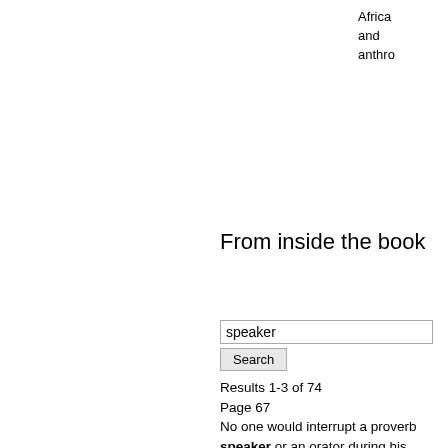Africa and anthro
From inside the book
speaker [search input]
Results 1-3 of 74
Page 67
No one would interrupt a proverb speaker or an orator during his performance . The speaker would shift into performance mode , physically or vocally marking the saying . One speaker would spread his ...